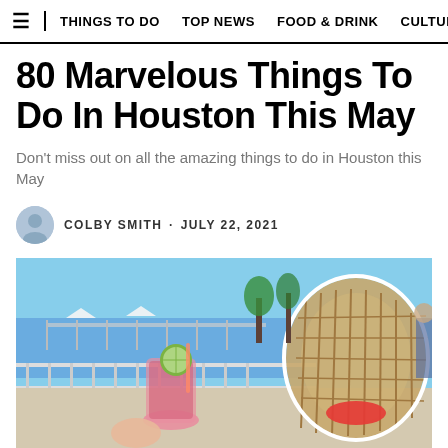THINGS TO DO  TOP NEWS  FOOD & DRINK  CULTURE
80 Marvelous Things To Do In Houston This May
Don't miss out on all the amazing things to do in Houston this May
COLBY SMITH · JULY 22, 2021
[Figure (photo): Outdoor waterfront restaurant patio scene with rattan hanging chairs, cocktails with lime garnish, water pier view in background, sunny day]